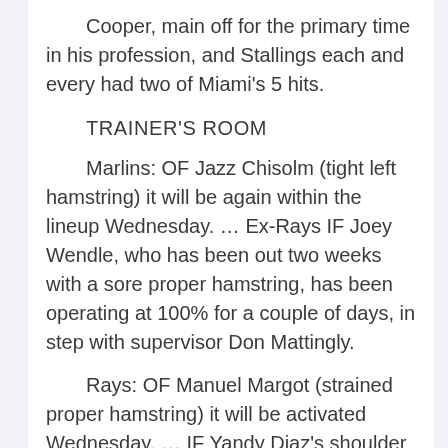Cooper, main off for the primary time in his profession, and Stallings each and every had two of Miami's 5 hits.
TRAINER'S ROOM
Marlins: OF Jazz Chisolm (tight left hamstring) it will be again within the lineup Wednesday. … Ex-Rays IF Joey Wendle, who has been out two weeks with a sore proper hamstring, has been operating at 100% for a couple of days, in step with supervisor Don Mattingly.
Rays: OF Manuel Margot (strained proper hamstring) it will be activated Wednesday. … IF Yandy Diaz's shoulder continues to be sore,